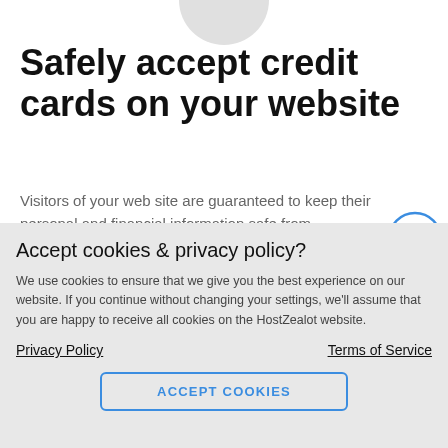Safely accept credit cards on your website
Visitors of your web site are guaranteed to keep their personal and financial information safe from criminals
Accept cookies & privacy policy?
We use cookies to ensure that we give you the best experience on our website. If you continue without changing your settings, we'll assume that you are happy to receive all cookies on the HostZealot website.
Privacy Policy
Terms of Service
ACCEPT COOKIES